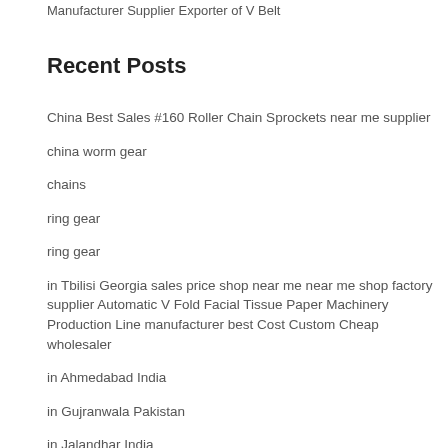Manufacturer Supplier Exporter of V Belt
Recent Posts
China Best Sales #160 Roller Chain Sprockets near me supplier
china worm gear
chains
ring gear
ring gear
in Tbilisi Georgia sales price shop near me near me shop factory supplier Automatic V Fold Facial Tissue Paper Machinery Production Line manufacturer best Cost Custom Cheap wholesaler
in Ahmedabad India
in Gujranwala Pakistan
in Jalandhar India
in Tambov ...